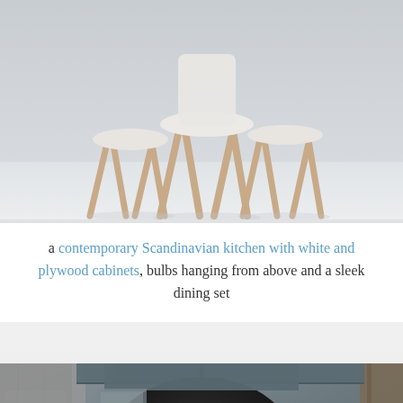[Figure (photo): A contemporary Scandinavian kitchen interior showing white furniture, chairs with wooden legs on a light floor, photographed from a low angle. Bright, minimalist aesthetic with white and plywood elements.]
a contemporary Scandinavian kitchen with white and plywood cabinets, bulbs hanging from above and a sleek dining set
[Figure (photo): An outdoor patio or balcony area featuring a large black dome-shaped hanging heater/lamp suspended from the ceiling, a BBQ grill below it, a small hanging plant, and surrounding building walls creating an enclosed urban outdoor space.]